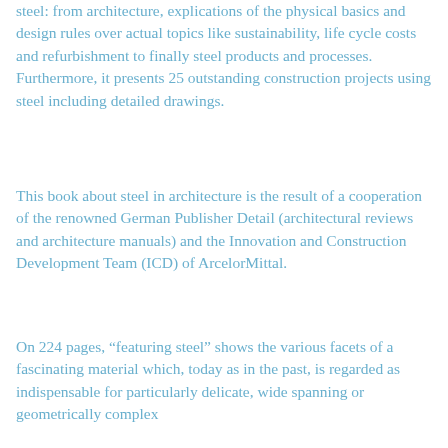steel: from architecture, explications of the physical basics and design rules over actual topics like sustainability, life cycle costs and refurbishment to finally steel products and processes. Furthermore, it presents 25 outstanding construction projects using steel including detailed drawings.
This book about steel in architecture is the result of a cooperation of the renowned German Publisher Detail (architectural reviews and architecture manuals) and the Innovation and Construction Development Team (ICD) of ArcelorMittal.
On 224 pages, “featuring steel” shows the various facets of a fascinating material which, today as in the past, is regarded as indispensable for particularly delicate, wide spanning or geometrically complex